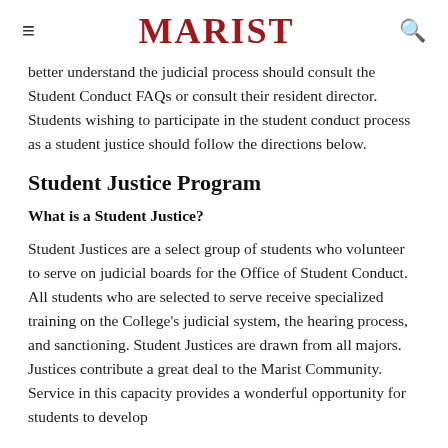MARIST
better understand the judicial process should consult the Student Conduct FAQs or consult their resident director. Students wishing to participate in the student conduct process as a student justice should follow the directions below.
Student Justice Program
What is a Student Justice?
Student Justices are a select group of students who volunteer to serve on judicial boards for the Office of Student Conduct. All students who are selected to serve receive specialized training on the College's judicial system, the hearing process, and sanctioning. Student Justices are drawn from all majors. Justices contribute a great deal to the Marist Community. Service in this capacity provides a wonderful opportunity for students to develop